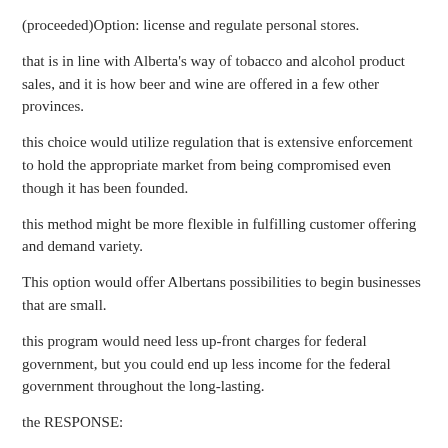(proceeded)Option: license and regulate personal stores.
that is in line with Alberta's way of tobacco and alcohol product sales, and it is how beer and wine are offered in a few other provinces.
this choice would utilize regulation that is extensive enforcement to hold the appropriate market from being compromised even though it has been founded.
this method might be more flexible in fulfilling customer offering and demand variety.
This option would offer Albertans possibilities to begin businesses that are small.
this program would need less up-front charges for federal government, but you could end up less income for the federal government throughout the long-lasting.
the RESPONSE:
THE PRVATE SECTOR: despite having the network that is extensive of commanded because of the LCBO, the Ontario federal government expects to simply manage to start 40